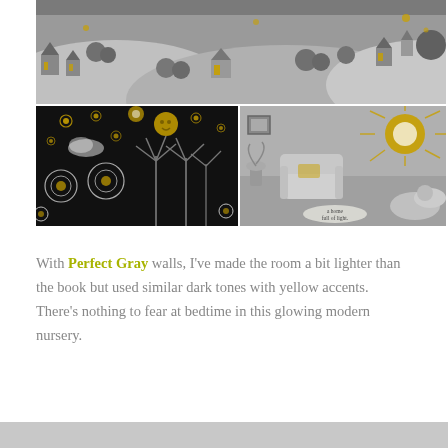[Figure (illustration): Top illustration panel: a bird's-eye view of a monochrome village with houses, trees and rolling hills. Yellow/gold accents highlight windows and rooftops.]
[Figure (illustration): Bottom-left illustration panel: dark night scene with glowing yellow stars, circular floral patterns, palm-like trees and a moon face in the sky.]
[Figure (illustration): Bottom-right illustration panel: monochrome interior room scene with an armchair, a sunburst window, and text reading 'a home full of light.' Yellow sun accent.]
With Perfect Gray walls, I've made the room a bit lighter than the book but used similar dark tones with yellow accents. There's nothing to fear at bedtime in this glowing modern nursery.